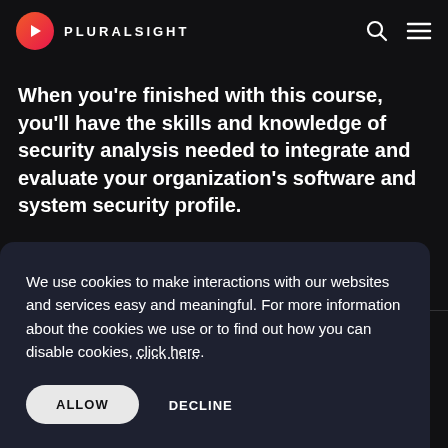PLURALSIGHT
When you're finished with this course, you'll have the skills and knowledge of security analysis needed to integrate and evaluate your organization's software and system security profile.
We use cookies to make interactions with our websites and services easy and meaningful. For more information about the cookies we use or to find out how you can disable cookies, click here.
ALLOW   DECLINE